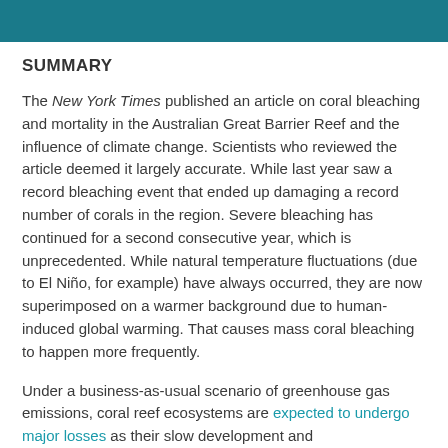SUMMARY
The New York Times published an article on coral bleaching and mortality in the Australian Great Barrier Reef and the influence of climate change. Scientists who reviewed the article deemed it largely accurate. While last year saw a record bleaching event that ended up damaging a record number of corals in the region. Severe bleaching has continued for a second consecutive year, which is unprecedented. While natural temperature fluctuations (due to El Niño, for example) have always occurred, they are now superimposed on a warmer background due to human-induced global warming. That causes mass coral bleaching to happen more frequently.
Under a business-as-usual scenario of greenhouse gas emissions, coral reef ecosystems are expected to undergo major losses as their slow development and